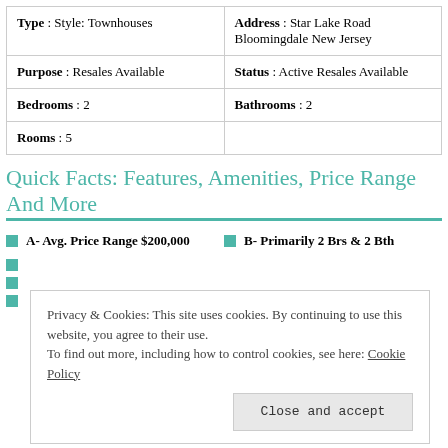| Type : Style: Townhouses | Address : Star Lake Road Bloomingdale New Jersey |
| Purpose : Resales Available | Status : Active Resales Available |
| Bedrooms : 2 | Bathrooms : 2 |
| Rooms : 5 |  |
Quick Facts: Features, Amenities, Price Range And More
A- Avg. Price Range $200,000
B- Primarily 2 Brs & 2 Bth
Privacy & Cookies: This site uses cookies. By continuing to use this website, you agree to their use.
To find out more, including how to control cookies, see here: Cookie Policy
Close and accept